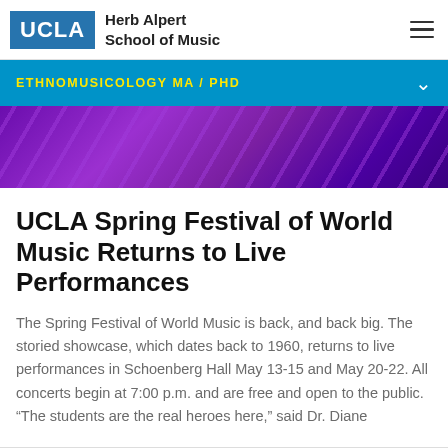UCLA Herb Alpert School of Music
ETHNOMUSICOLOGY MA / PHD
[Figure (photo): Purple and violet abstract banner image with diagonal light streaks]
UCLA Spring Festival of World Music Returns to Live Performances
The Spring Festival of World Music is back, and back big. The storied showcase, which dates back to 1960, returns to live performances in Schoenberg Hall May 13-15 and May 20-22. All concerts begin at 7:00 p.m. and are free and open to the public. “The students are the real heroes here,” said Dr. Diane